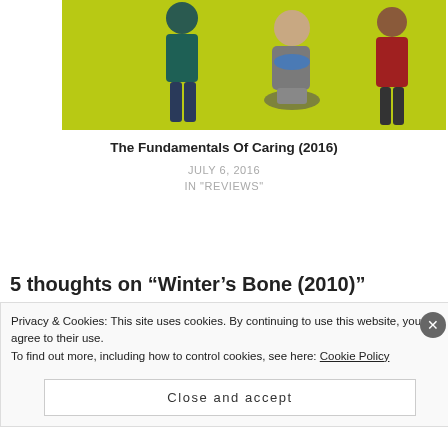[Figure (photo): Movie promotional image for 'The Fundamentals of Caring (2016)' showing people on a yellow-green background — a person in teal top, a young man with a blue scarf seated, and a person in red top.]
The Fundamentals Of Caring (2016)
JULY 6, 2016
IN "REVIEWS"
5 thoughts on “Winter’s Bone (2010)”
Privacy & Cookies: This site uses cookies. By continuing to use this website, you agree to their use.
To find out more, including how to control cookies, see here: Cookie Policy
Close and accept